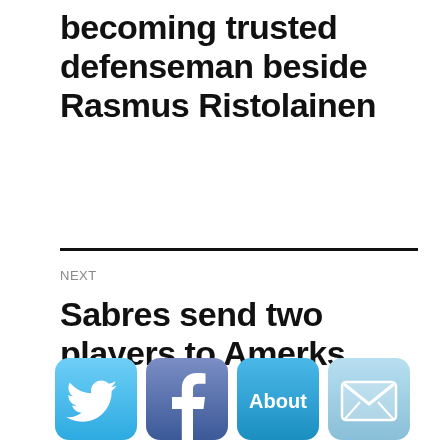becoming trusted defenseman beside Rasmus Ristolainen
NEXT
Sabres send two players to Amerks
[Figure (infographic): Row of four social media icon buttons: Twitter (light blue bird icon), Facebook (dark blue f icon), About (blue button with 'About' text), and email/envelope icon (light blue)]